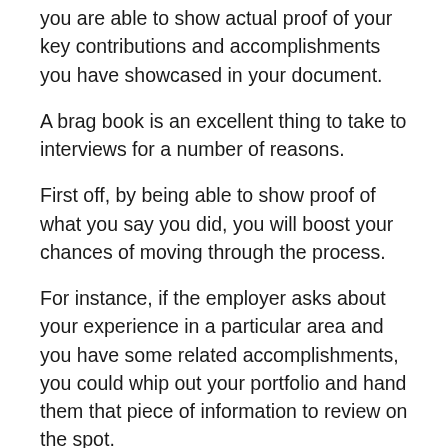you are able to show actual proof of your key contributions and accomplishments you have showcased in your document.
A brag book is an excellent thing to take to interviews for a number of reasons.
First off, by being able to show proof of what you say you did, you will boost your chances of moving through the process.
For instance, if the employer asks about your experience in a particular area and you have some related accomplishments, you could whip out your portfolio and hand them that piece of information to review on the spot.